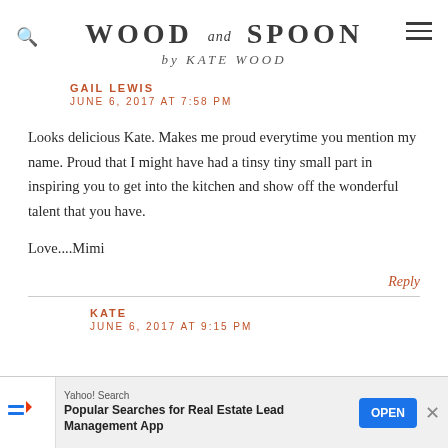WOOD and SPOON by KATE WOOD
GAIL LEWIS
JUNE 6, 2017 AT 7:58 PM
Looks delicious Kate. Makes me proud everytime you mention my name. Proud that I might have had a tinsy tiny small part in inspiring you to get into the kitchen and show off the wonderful talent that you have.

Love....Mimi
Reply
KATE
JUNE 6, 2017 AT 9:15 PM
[Figure (screenshot): Yahoo! Search advertisement bar at the bottom: 'Popular Searches for Real Estate Lead Management App' with an OPEN button]